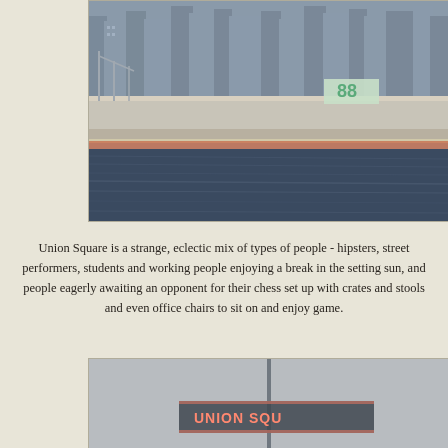[Figure (photo): Aerial or waterfront view of a city skyline with buildings, a pier/dock area with cranes and a large warehouse building with '88' signage, and dark blue water in the foreground.]
Union Square is a strange, eclectic mix of types of people - hipsters, street performers, students and working people enjoying a break in the setting sun, and people eagerly awaiting an opponent for their chess set up with crates and stools and even office chairs to sit on and enjoy game.
[Figure (photo): Bottom portion of a photo showing what appears to be a Union Square sign or marquee with illuminated lettering against a light grey sky background.]